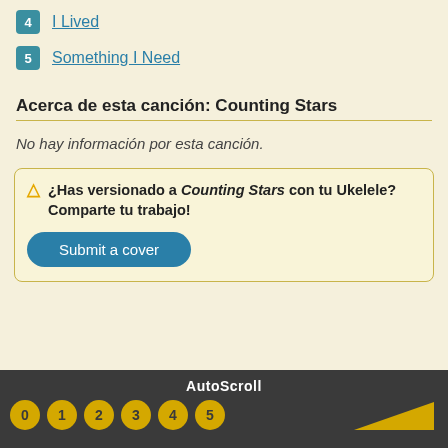4 I Lived
5 Something I Need
Acerca de esta canción: Counting Stars
No hay información por esta canción.
⚠ ¿Has versionado a Counting Stars con tu Ukelele? Comparte tu trabajo! Submit a cover
AutoScroll 0 1 2 3 4 5